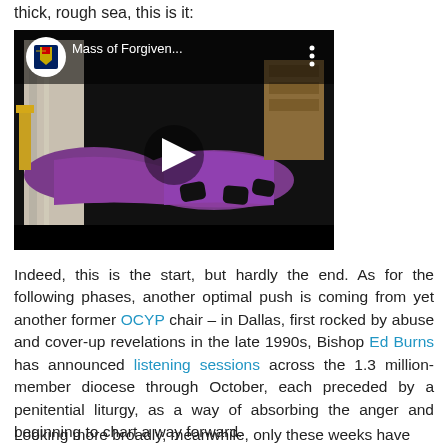thick, rough sea, this is it:
[Figure (screenshot): Embedded video thumbnail showing a Mass of Forgiveness ceremony with clergy prostrating in purple vestments. Video title reads 'Mass of Forgiven...' with a play button overlay.]
Indeed, this is the start, but hardly the end. As for the following phases, another optimal push is coming from yet another former OCYP chair – in Dallas, first rocked by abuse and cover-up revelations in the late 1990s, Bishop Ed Burns has announced listening sessions across the 1.3 million-member diocese through October, each preceded by a penitential liturgy, as a way of absorbing the anger and beginning to chart a way forward.
Looking more broadly, meanwhile, only these weeks have